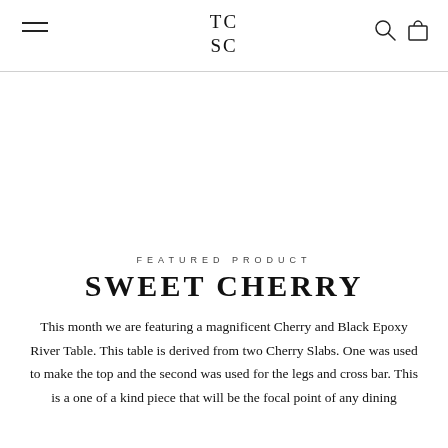TC SC
FEATURED PRODUCT
SWEET CHERRY
This month we are featuring a magnificent Cherry and Black Epoxy River Table. This table is derived from two Cherry Slabs. One was used to make the top and the second was used for the legs and cross bar. This is a one of a kind piece that will be the focal point of any dining